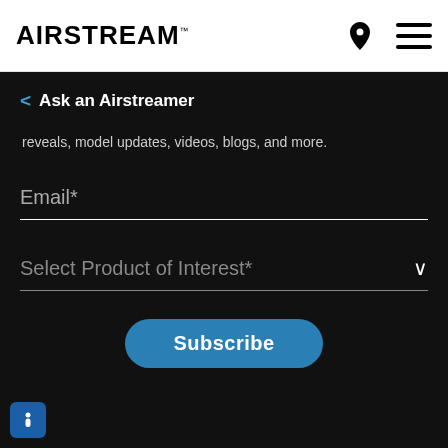AIRSTREAM
< Ask an Airstreamer
reveals, model updates, videos, blogs, and more.
Email*
Select Product of Interest*
Subscribe